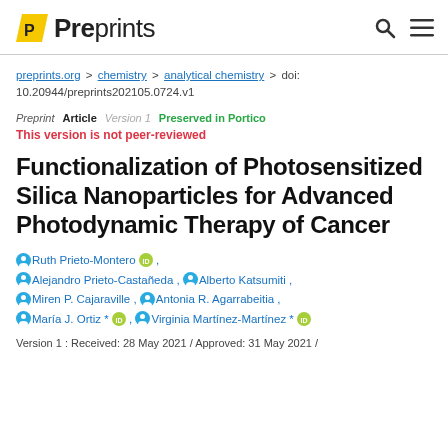Preprints
preprints.org > chemistry > analytical chemistry > doi: 10.20944/preprints202105.0724.v1
Preprint Article Version 1 Preserved in Portico
This version is not peer-reviewed
Functionalization of Photosensitized Silica Nanoparticles for Advanced Photodynamic Therapy of Cancer
Ruth Prieto-Montero, Alejandro Prieto-Castañeda, Alberto Katsumiti, Miren P. Cajaraville, Antonia R. Agarrabeitia, María J. Ortiz *, Virginia Martínez-Martínez *
Version 1 : Received: 28 May 2021 / Approved: 31 May 2021 /